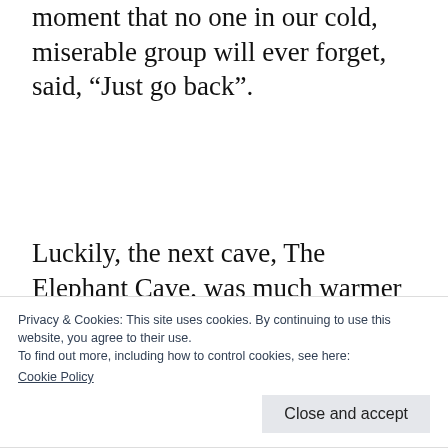moment that no one in our cold, miserable group will ever forget, said, “Just go back”.
Luckily, the next cave, The Elephant Cave, was much warmer and easier to explore. It was a cave that doubles as a temple for the local Lao people in the area, who could not afford to build a temple. The cave got its name from a
Privacy & Cookies: This site uses cookies. By continuing to use this website, you agree to their use.
To find out more, including how to control cookies, see here:
Cookie Policy
that is has been doctored by not-so-natural